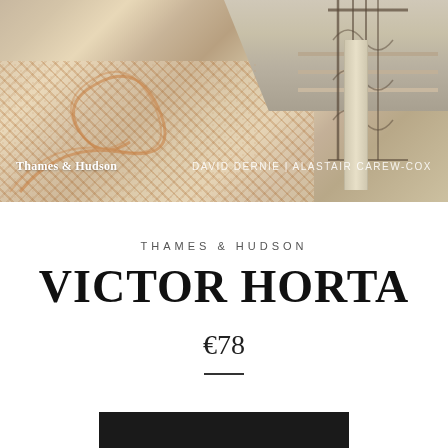[Figure (photo): Cover image of a book showing an ornate Art Nouveau mosaic floor with swirling orange and white tile patterns, marble steps with curved edges, an ornamental iron railing, and a stone column. Text overlays show 'Thames & Hudson' on the left and 'DAVID DERNIE | ALASTAIR CAREW-COX' on the right.]
THAMES & HUDSON
VICTOR HORTA
€78